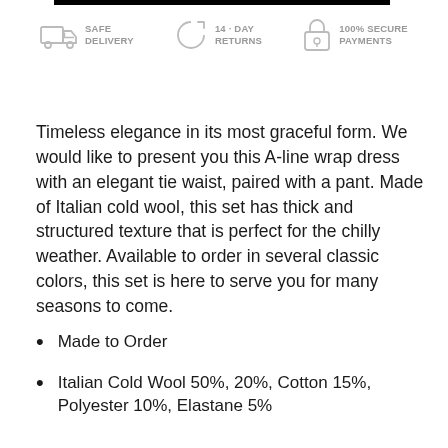[Figure (infographic): Three trust badges: SAFE DELIVERY (truck icon), 14-DAY RETURNS (refresh icon), 100% SECURE PAYMENTS (lock icon)]
Timeless elegance in its most graceful form. We would like to present you this A-line wrap dress with an elegant tie waist, paired with a pant. Made of Italian cold wool, this set has thick and structured texture that is perfect for the chilly weather. Available to order in several classic colors, this set is here to serve you for many seasons to come.
Made to Order
Italian Cold Wool 50%, 20%, Cotton 15%, Polyester 10%, Elastane 5%